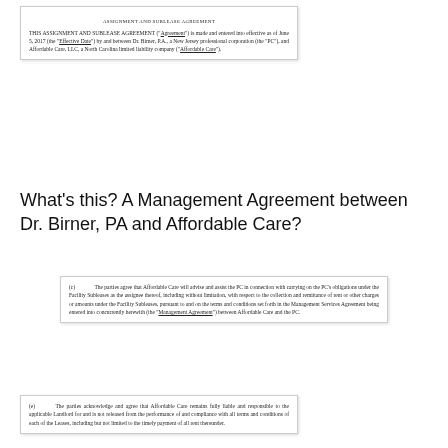[Figure (screenshot): Snippet of legal document showing the opening clause of an Assignment and Sublease Agreement made effective as of June 5, 2017, between Dr. Birner, P.A., a New Jersey professional corporation (the 'PC'), and Affordable Care, LLC, a North Carolina limited liability company ('Affordable Care').]
What's this? A Management Agreement between Dr. Birner, PA and Affordable Care?
[Figure (screenshot): Snippet of legal document section (c) stating that the parties agree that Affordable Care will advise and assist the PC in connection with carrying on the PC's obligations under the Facility Subleases as the assignee thereof, including without limitation, with respect to the collection and remittance of rent or other charges or amounts under the Facility Subleases, pursuant to and on the terms and conditions set forth in the Management Services Agreement being entered into concurrently herewith (the 'Management Agreement') between Affordable Care and the PC.]
[Figure (screenshot): Snippet of legal document section (e) acknowledging and agreeing that Affordable Care remains fully liable and responsible to the applicable Landlord for and is not released from the performance of and compliance with all terms and conditions of each of the Leases, including but not limited to the timely payment of all rent thereunder.]